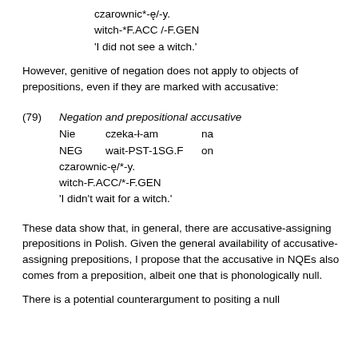czarownic*-ę/-y.
witch-*F.ACC /-F.GEN
'I did not see a witch.'
However, genitive of negation does not apply to objects of prepositions, even if they are marked with accusative:
(79) Negation and prepositional accusative
Nie    czeka-ł-am         na
NEG    wait-PST-1SG.F    on
czarownic-ę/*-y.
witch-F.ACC/*-F.GEN
'I didn't wait for a witch.'
These data show that, in general, there are accusative-assigning prepositions in Polish. Given the general availability of accusative-assigning prepositions, I propose that the accusative in NQEs also comes from a preposition, albeit one that is phonologically null.
There is a potential counterargument to positing a null